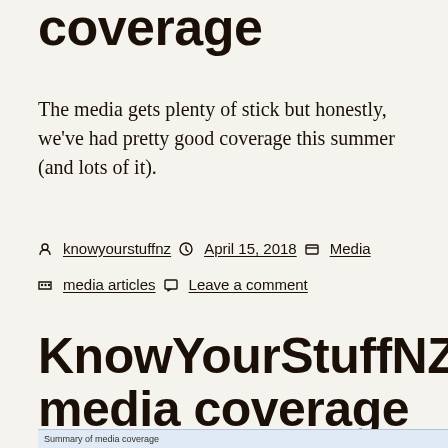coverage
The media gets plenty of stick but honestly, we've had pretty good coverage this summer (and lots of it).
by knowyourstuffnz  April 15, 2018  Media  media articles  Leave a comment
KnowYourStuffNZ media coverage for the last four weeks
[Figure (table-as-image): Partial table visible at the bottom of the page]